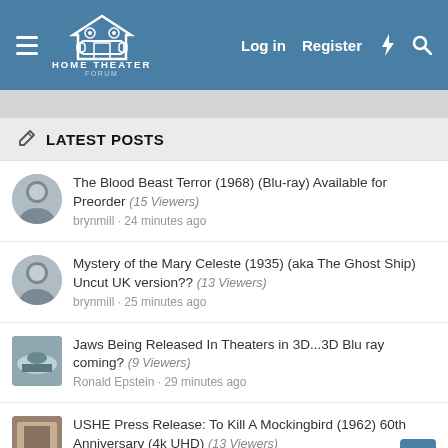Home Theater Forum — Log in | Register
LATEST POSTS
The Blood Beast Terror (1968) (Blu-ray) Available for Preorder (15 Viewers)
brynmill · 24 minutes ago
Mystery of the Mary Celeste (1935) (aka The Ghost Ship) Uncut UK version?? (13 Viewers)
brynmill · 25 minutes ago
Jaws Being Released In Theaters in 3D...3D Blu ray coming? (9 Viewers)
Ronald Epstein · 29 minutes ago
USHE Press Release: To Kill A Mockingbird (1962) 60th Anniversary (4k UHD) (13 Viewers)
Ronald Epstein · 30 minutes ago
First word that comes into your head when I say.... (15 Viewers)
John Larson · 32 minutes ago